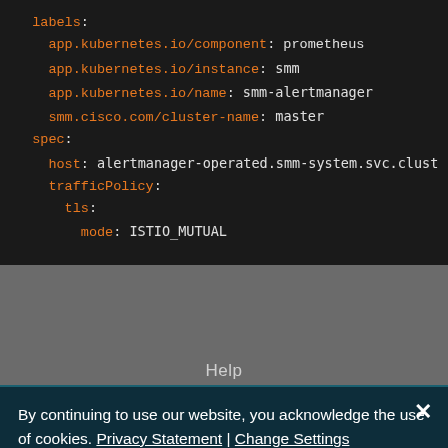[Figure (screenshot): Code block showing Kubernetes YAML configuration with labels and spec sections. Orange keywords include: labels, app.kubernetes.io/component, app.kubernetes.io/instance, app.kubernetes.io/name, smm.cisco.com/cluster-name, spec, host, trafficPolicy, tls, mode. Values in white monospace: prometheus, smm, smm-alertmanager, master, alertmanager-operated.smm-system.svc.clust (truncated), ISTIO_MUTUAL.]
Help
By continuing to use our website, you acknowledge the use of cookies. Privacy Statement | Change Settings